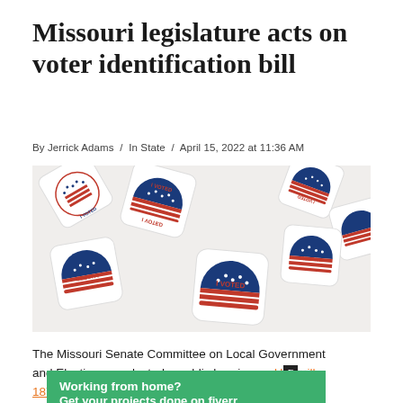Missouri legislature acts on voter identification bill
By Jerrick Adams  /  In State  /  April 15, 2022 at 11:36 AM
[Figure (photo): Multiple 'I VOTED' sticker badges scattered on a white surface, showing red, white, and blue American flag designs, some face-up and some face-down/upside-down.]
The Missouri Senate Committee on Local Government and Elections conducted a public hearing on House Bill 1878, Missouri's voter...